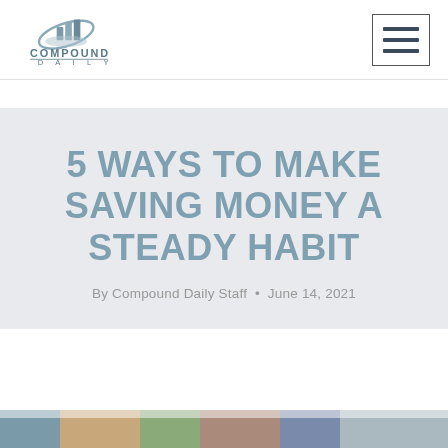[Figure (logo): Compound Daily logo with bar chart icon and ellipse, text COMPOUND DAILY below]
[Figure (other): Hamburger menu icon in a square border box]
5 WAYS TO MAKE SAVING MONEY A STEADY HABIT
By Compound Daily Staff • June 14, 2021
[Figure (photo): Partial photo strip at the very bottom of the page]